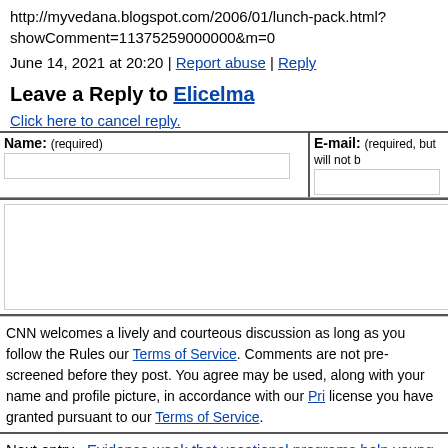http://myvedana.blogspot.com/2006/01/lunch-pack.html?showComment=11375259000000&m=0
June 14, 2021 at 20:20 | Report abuse | Reply
Leave a Reply to Elicelma
Click here to cancel reply.
| Name: (required) | E-mail: (required, but will not b... |
| --- | --- |
|  |  |
CNN welcomes a lively and courteous discussion as long as you follow the Rules of our Terms of Service. Comments are not pre-screened before they post. You agree that anything you post may be used, along with your name and profile picture, in accordance with our Pri... license you have granted pursuant to our Terms of Service.
Next entry »Evidence weak that vocational programs help young adu...
« Previous entrySummer snakebite safety